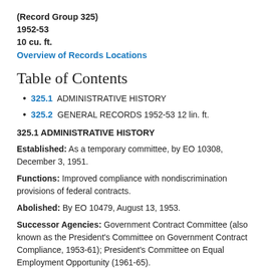(Record Group 325)
1952-53
10 cu. ft.
Overview of Records Locations
Table of Contents
325.1 ADMINISTRATIVE HISTORY
325.2 GENERAL RECORDS 1952-53 12 lin. ft.
325.1 ADMINISTRATIVE HISTORY
Established: As a temporary committee, by EO 10308, December 3, 1951.
Functions: Improved compliance with nondiscrimination provisions of federal contracts.
Abolished: By EO 10479, August 13, 1953.
Successor Agencies: Government Contract Committee (also known as the President's Committee on Government Contract Compliance, 1953-61); President's Committee on Equal Employment Opportunity (1961-65).